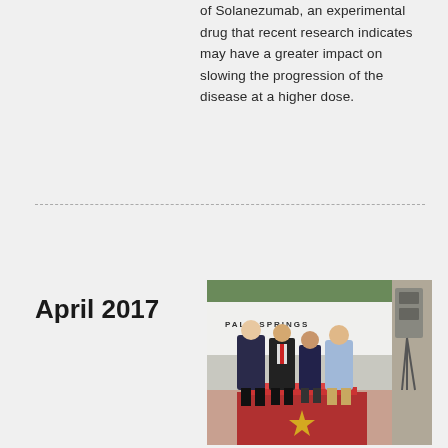of Solanezumab, an experimental drug that recent research indicates may have a greater impact on slowing the progression of the disease at a higher dose.
April 2017
[Figure (photo): Four people standing together on a red carpet at a Palm Springs event, posing in front of a white backdrop with 'PALM SPRINGS' text visible.]